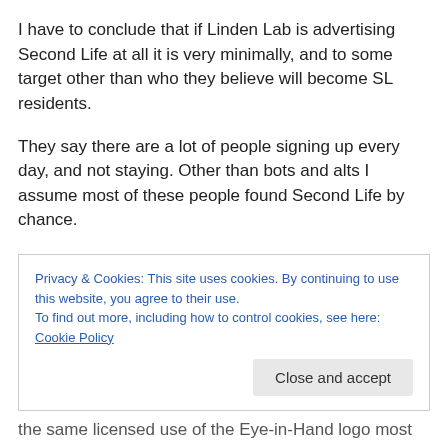I have to conclude that if Linden Lab is advertising Second Life at all it is very minimally, and to some target other than who they believe will become SL residents.
They say there are a lot of people signing up every day, and not staying. Other than bots and alts I assume most of these people found Second Life by chance.
That leaves word of mouth, residents telling their RL friends about SL. There are several groups of residents working on various welcoming projects and LL seems to
Privacy & Cookies: This site uses cookies. By continuing to use this website, you agree to their use.
To find out more, including how to control cookies, see here: Cookie Policy
the same licensed use of the Eye-in-Hand logo most